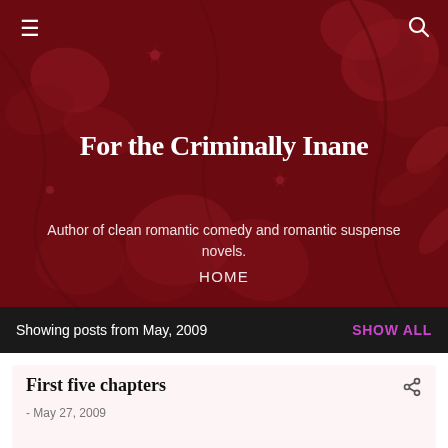For the Criminally Inane
Author of clean romantic comedy and romantic suspense novels.
HOME
Showing posts from May, 2009  SHOW ALL
First five chapters
- May 27, 2009
I'm trying to hone in on the first five chapters. I think I'll spend the majority of my time on this until I feel like I've got